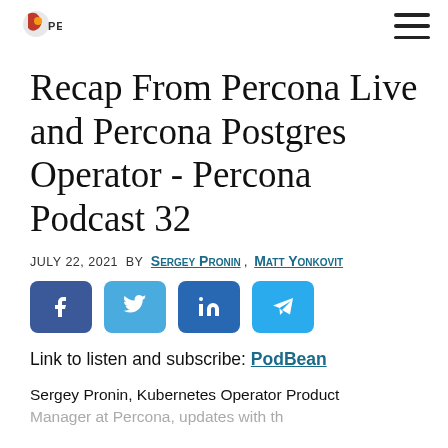Percona
Recap From Percona Live and Percona Postgres Operator - Percona Podcast 32
July 22, 2021 by Sergey Pronin, Matt Yonkovit
[Figure (infographic): Social share buttons: Facebook, Twitter, LinkedIn, Telegram]
Link to listen and subscribe: PodBean
Sergey Pronin, Kubernetes Operator Product Manager at Percona, updates with the